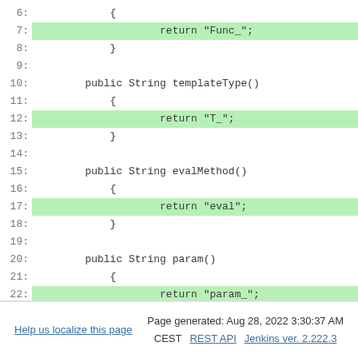[Figure (screenshot): Code snippet showing Java class methods with line numbers 6-24. Lines 7, 12, 17, and 22 are highlighted in green, showing return statements: return "Func_"; return "T_"; return "eval"; return "param_";]
Help us localize this page   Page generated: Aug 28, 2022 3:30:37 AM CEST   REST API   Jenkins ver. 2.222.3